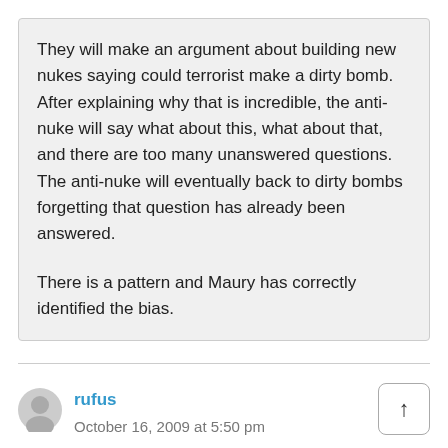They will make an argument about building new nukes saying could terrorist make a dirty bomb. After explaining why that is incredible, the anti-nuke will say what about this, what about that, and there are too many unanswered questions. The anti-nuke will eventually back to dirty bombs forgetting that question has already been answered.

There is a pattern and Maury has correctly identified the bias.
rufus
October 16, 2009 at 5:50 pm